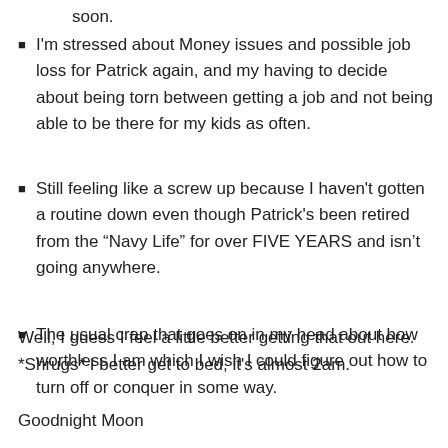soon.
I'm stressed about Money issues and possible job loss for Patrick again, and my having to decide about being torn between getting a job and not being able to be there for my kids as often.
Still feeling like a screw up because I haven't gotten a routine down even though Patrick's been retired from the “Navy Life” for over FIVE YEARS and isn’t going anywhere.
The usual crap that goes on in my head about how worthless I am which I wish I could figure out how to turn off or conquer in some way.
Well, I guess I feel a little better getting that out here. *Shrugs* I better get to bed, it's almost 2am.
Goodnight Moon